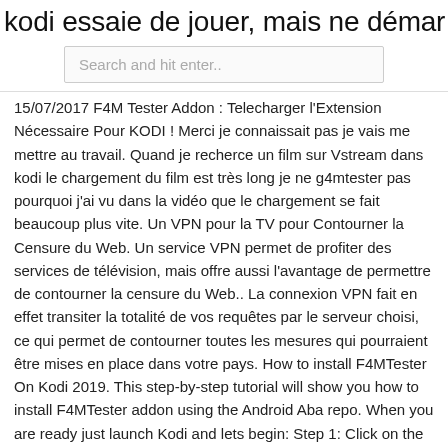kodi essaie de jouer, mais ne démar…
Search and hit enter..
15/07/2017 F4M Tester Addon : Telecharger l'Extension Nécessaire Pour KODI ! Merci je connaissait pas je vais me mettre au travail. Quand je recherce un film sur Vstream dans kodi le chargement du film est très long je ne g4mtester pas pourquoi j'ai vu dans la vidéo que le chargement se fait beaucoup plus vite. Un VPN pour la TV pour Contourner la Censure du Web. Un service VPN permet de profiter des services de télévision, mais offre aussi l'avantage de permettre de contourner la censure du Web.. La connexion VPN fait en effet transiter la totalité de vos requêtes par le serveur choisi, ce qui permet de contourner toutes les mesures qui pourraient être mises en place dans votre pays. How to install F4MTester On Kodi 2019. This step-by-step tutorial will show you how to install F4MTester addon using the Android Aba repo. When you are ready just launch Kodi and lets begin: Step 1: Click on the small gear Icon on the top left hand side of the screen. Step 2: …
exode kodi 16.1